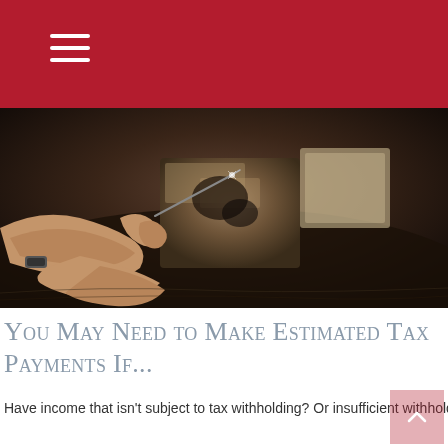☰
[Figure (photo): Close-up photograph of hands using a tool to work on a rough metal or stone block on a workbench surface, shot in dark moody tones.]
You May Need to Make Estimated Tax Payments If...
Have income that isn't subject to tax withholding? Or insufficient withholdings? You may have to pay estimated taxes.